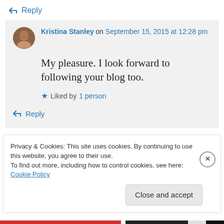↪ Reply
Kristina Stanley on September 15, 2015 at 12:28 pm
My pleasure. I look forward to following your blog too.
★ Liked by 1 person
↪ Reply
Privacy & Cookies: This site uses cookies. By continuing to use this website, you agree to their use.
To find out more, including how to control cookies, see here: Cookie Policy